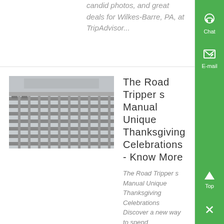candid photos, and great deals for Wilkes-Barre, PA, at TripAdvisor...
[Figure (photo): Photo of concrete drainage grate or industrial grid structure, viewed from above at an angle]
The Road Tripper s Manual Unique Thanksgiving Celebrations - Know More
The Road Tripper s Manual Unique Thanksgiving Celebrations Discover a new way to spend Thanksgiving this year...
Citizens Voice Obituaries - Know